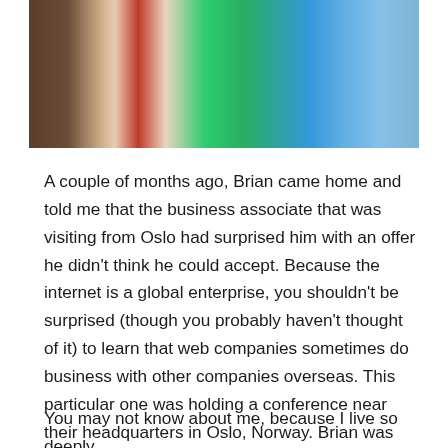[Figure (photo): Partial photo showing flags including what appears to be a red/white flag and green flag, with a person partially visible on the right side, taken indoors near wooden paneling]
A couple of months ago, Brian came home and told me that the business associate that was visiting from Oslo had surprised him with an offer he didn't think he could accept. Because the internet is a global enterprise, you shouldn't be surprised (though you probably haven't thought of it) to learn that web companies sometimes do business with other companies overseas. This particular one was holding a conference near their headquarters in Oslo, Norway. Brian was invited.
You may not know about me, because I live so deeply